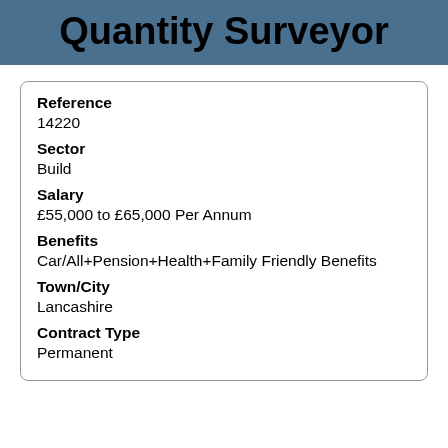Quantity Surveyor
| Field | Value |
| --- | --- |
| Reference | 14220 |
| Sector | Build |
| Salary | £55,000 to £65,000 Per Annum |
| Benefits | Car/All+Pension+Health+Family Friendly Benefits |
| Town/City | Lancashire |
| Contract Type | Permanent |